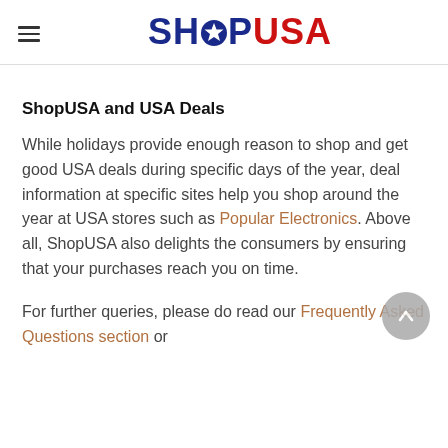SHOPUSA
ShopUSA and USA Deals
While holidays provide enough reason to shop and get good USA deals during specific days of the year, deal information at specific sites help you shop around the year at USA stores such as Popular Electronics. Above all, ShopUSA also delights the consumers by ensuring that your purchases reach you on time.
For further queries, please do read our Frequently Asked Questions section or